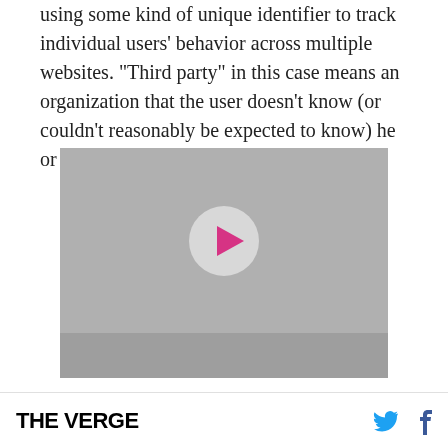using some kind of unique identifier to track individual users' behavior across multiple websites. "Third party" in this case means an organization that the user doesn't know (or couldn't reasonably be expected to know) he or she is interacting with.
[Figure (other): Video player placeholder with gray background and a play button (pink triangle inside a light gray circle)]
THE VERGE [Twitter icon] [Facebook icon]